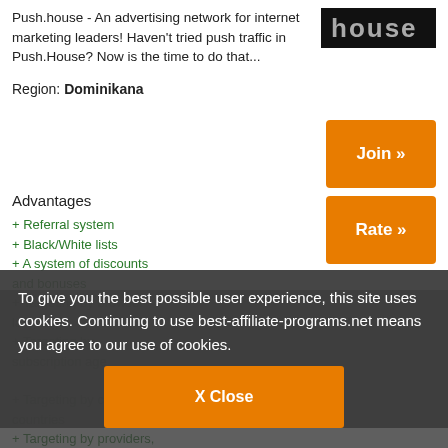Push.house - An advertising network for internet marketing leaders! Haven't tried push traffic in Push.House? Now is the time to do that...
[Figure (logo): Push.house logo on black background]
Region: Dominikana
+ Referral system
+ Black/White lists
+ A system of discounts and bonuses
+ Targeting by browser language
+ Targeting by subscription age
+ Targeting by cities and countries
+ Targeting by providers, devices, OS versions
+ A base of more than 200 million active subscriptions + feed
+ Convenient personal account and responsive support
To give you the best possible user experience, this site uses cookies. Continuing to use best-affiliate-programs.net means you agree to our use of cookies.
X Close